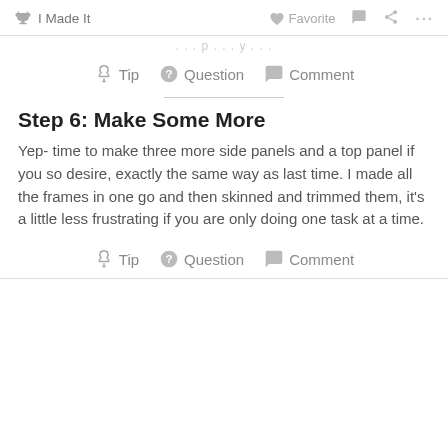✋ I Made It   ♥ Favorite   💬   🔗   ...
…partially visible text…
💡 Tip   ❓ Question   💬 Comment
Step 6: Make Some More
Yep- time to make three more side panels and a top panel if you so desire, exactly the same way as last time. I made all the frames in one go and then skinned and trimmed them, it's a little less frustrating if you are only doing one task at a time.
💡 Tip   ❓ Question   💬 Comment